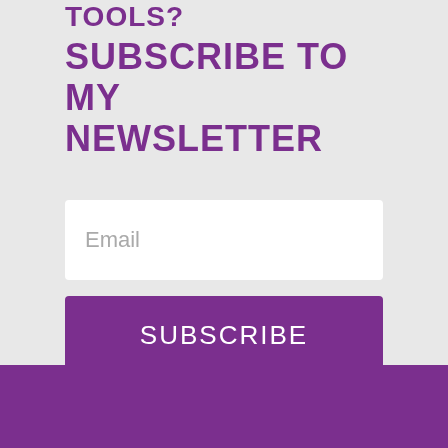TOOLS?
SUBSCRIBE TO MY NEWSLETTER
Email
SUBSCRIBE
By entering your email you agree with the storage and handling of your data by this website.